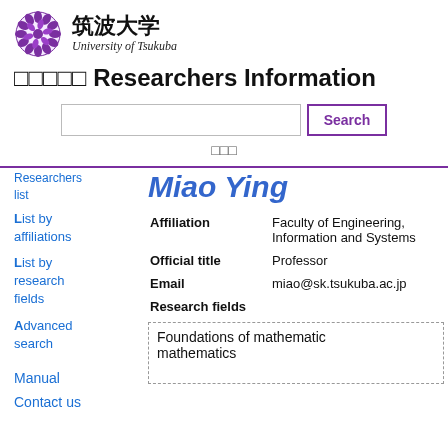[Figure (logo): University of Tsukuba logo: purple chrysanthemum crest with Japanese text 筑波大学 and italic University of Tsukuba]
□□□□□ Researchers Information
Search bar and search button
□□□
Researchers list
List by affiliations
List by research fields
Advanced search
Miao Ying
Affiliation
Faculty of Engineering, Information and Systems
Official title
Professor
Email
miao@sk.tsukuba.ac.jp
Research fields
Foundations of mathematic mathematics
Manual
Contact us